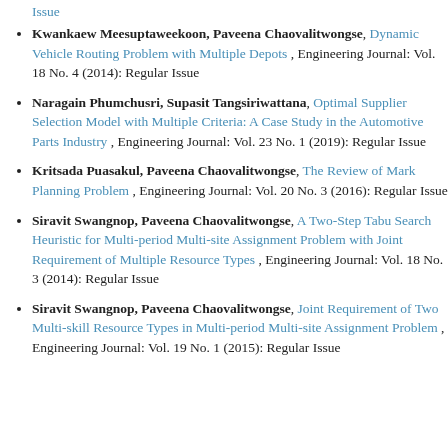Issue (partial, top of page)
Kwankaew Meesuptaweekoon, Paveena Chaovalitwongse, Dynamic Vehicle Routing Problem with Multiple Depots , Engineering Journal: Vol. 18 No. 4 (2014): Regular Issue
Naragain Phumchusri, Supasit Tangsiriwattana, Optimal Supplier Selection Model with Multiple Criteria: A Case Study in the Automotive Parts Industry , Engineering Journal: Vol. 23 No. 1 (2019): Regular Issue
Kritsada Puasakul, Paveena Chaovalitwongse, The Review of Mark Planning Problem , Engineering Journal: Vol. 20 No. 3 (2016): Regular Issue
Siravit Swangnop, Paveena Chaovalitwongse, A Two-Step Tabu Search Heuristic for Multi-period Multi-site Assignment Problem with Joint Requirement of Multiple Resource Types , Engineering Journal: Vol. 18 No. 3 (2014): Regular Issue
Siravit Swangnop, Paveena Chaovalitwongse, Joint Requirement of Two Multi-skill Resource Types in Multi-period Multi-site Assignment Problem , Engineering Journal: Vol. 19 No. 1 (2015): Regular Issue